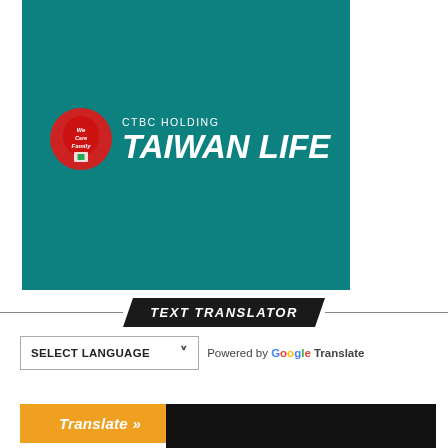[Figure (logo): CTBC Holding Taiwan Life logo on teal/dark green background. Red circular emblem with 'We Care Family' text and a white logo mark, next to white text reading 'CTBC HOLDING' above large bold italic 'TAIWAN LIFE'.]
TEXT TRANSLATOR
Powered by Google Translate
SELECT LANGUAGE
Translate »